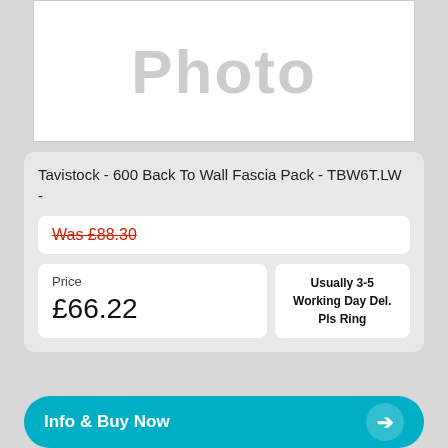[Figure (photo): Product photo placeholder showing 'Photo' watermark text in grey on white background]
Tavistock - 600 Back To Wall Fascia Pack - TBW6T.LW -
Was £88.30
Price £66.22
Usually 3-5 Working Day Del. Pls Ring
Info & Buy Now